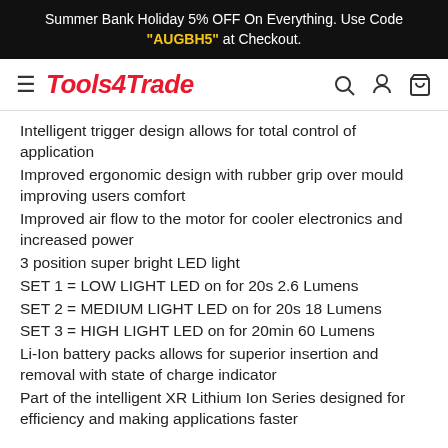Summer Bank Holiday 5% OFF On Everything. Use Code "AUGBH5" at Checkout.
Tools4Trade
Intelligent trigger design allows for total control of application
Improved ergonomic design with rubber grip over mould improving users comfort
Improved air flow to the motor for cooler electronics and increased power
3 position super bright LED light
SET 1 = LOW LIGHT LED on for 20s 2.6 Lumens
SET 2 = MEDIUM LIGHT LED on for 20s 18 Lumens
SET 3 = HIGH LIGHT LED on for 20min 60 Lumens
Li-Ion battery packs allows for superior insertion and removal with state of charge indicator
Part of the intelligent XR Lithium Ion Series designed for efficiency and making applications faster
Dewalt DCF887 Impact Driver: